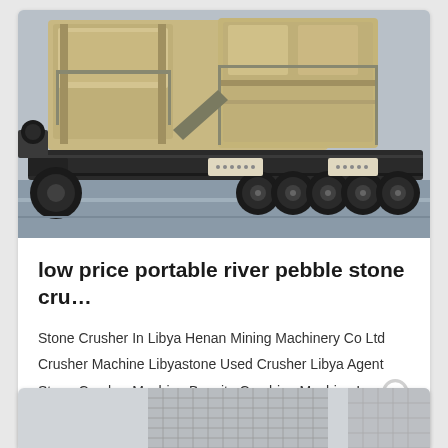[Figure (photo): A large mobile stone crushing machine mounted on a heavy-duty truck trailer, photographed in an industrial yard. The machine is beige/tan colored with black chassis and multiple large wheels.]
low price portable river pebble stone cru…
Stone Crusher In Libya Henan Mining Machinery Co Ltd Crusher Machine Libyastone Used Crusher Libya Agent Stone Crusher Machine Bauxite Crushing Machine In India…
[Figure (photo): Partial view of industrial building or machinery at the bottom of the page, partially cut off.]